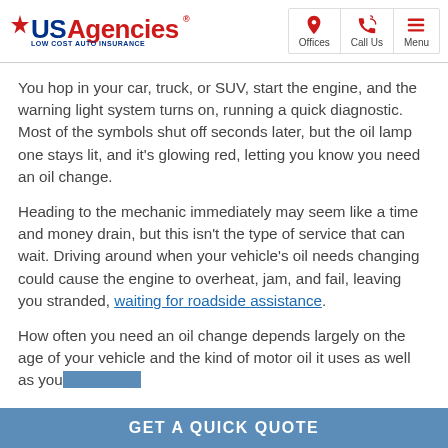USAgencies LOW COST AUTO INSURANCE | Offices | Call Us | Menu
You hop in your car, truck, or SUV, start the engine, and the warning light system turns on, running a quick diagnostic. Most of the symbols shut off seconds later, but the oil lamp one stays lit, and it's glowing red, letting you know you need an oil change.
Heading to the mechanic immediately may seem like a time and money drain, but this isn't the type of service that can wait. Driving around when your vehicle's oil needs changing could cause the engine to overheat, jam, and fail, leaving you stranded, waiting for roadside assistance.
How often you need an oil change depends largely on the age of your vehicle and the kind of motor oil it uses as well as you and driving